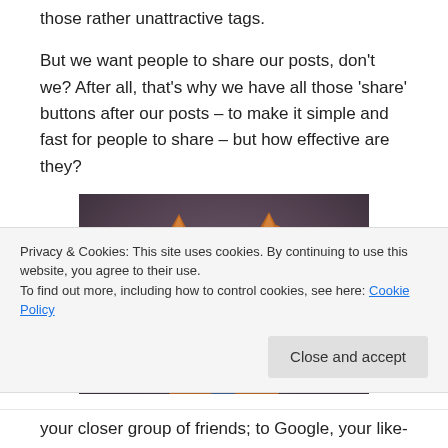those rather unattractive tags.
But we want people to share our posts, don't we? After all, that's why we have all those 'share' buttons after our posts – to make it simple and fast for people to share – but how effective are they?
[Figure (photo): Close-up photo of a red squirrel (or similar small rodent) facing the camera, with a blurred purple/brown background and a small cylindrical object in front of it.]
Privacy & Cookies: This site uses cookies. By continuing to use this website, you agree to their use.
To find out more, including how to control cookies, see here: Cookie Policy
your closer group of friends; to Google, your like-